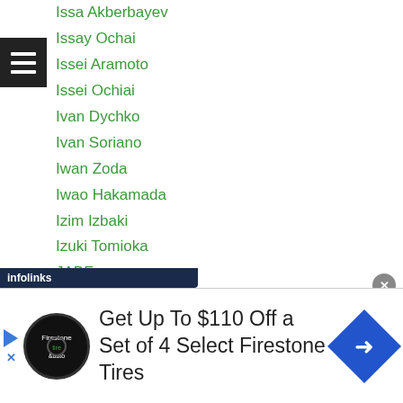Issa Akberbayev
Issay Ochai
Issei Aramoto
Issei Ochiai
Ivan Dychko
Ivan Soriano
Iwan Zoda
Iwao Hakamada
Izim Izbaki
Izuki Tomioka
JABF
Jack Asis
Jack Tepora
Jade Bornea
Jae Hyun Jo
Jae Min Kim
[Figure (screenshot): Advertisement banner: Get Up To $110 Off a Set of 4 Select Firestone Tires, with Firestone Tires logo and navigation arrow icon. Infolinks ad bar at top of banner.]